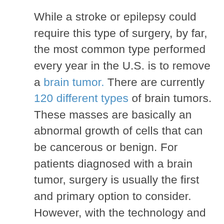While a stroke or epilepsy could require this type of surgery, by far, the most common type performed every year in the U.S. is to remove a brain tumor. There are currently 120 different types of brain tumors. These masses are basically an abnormal growth of cells that can be cancerous or benign. For patients diagnosed with a brain tumor, surgery is usually the first and primary option to consider. However, with the technology and medical advancements that have led us to minimally invasive procedures, the patient may not even need an incision in the skull to perform the procedure.